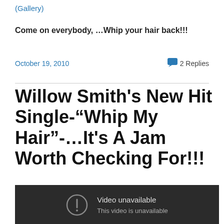(Gallery)
Come on everybody, …Whip your hair back!!!
October 19, 2010
2 Replies
Willow Smith's New Hit Single-“Whip My Hair”-…It’s A Jam Worth Checking For!!!
[Figure (screenshot): Embedded video player showing 'Video unavailable - This video is unavailable' error message on dark background]